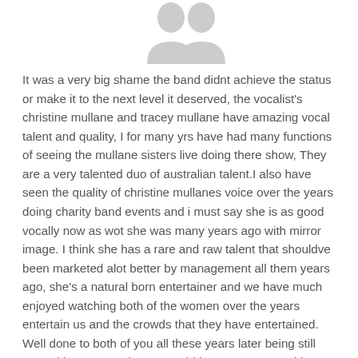[Figure (illustration): Gray silhouette avatar icon of a person (head and shoulders), used as a default user profile image]
It was a very big shame the band didnt achieve the status or make it to the next level it deserved, the vocalist's christine mullane and tracey mullane have amazing vocal talent and quality, I for many yrs have had many functions of seeing the mullane sisters live doing there show, They are a very talented duo of australian talent.I also have seen the quality of christine mullanes voice over the years doing charity band events and i must say she is as good vocally now as wot she was many years ago with mirror image. I think she has a rare and raw talent that shouldve been marketed alot better by management all them years ago, she's a natural born entertainer and we have much enjoyed watching both of the women over the years entertain us and the crowds that they have entertained. Well done to both of you all these years later being still natural born entertainers. Would love to see something happen with them songs from the mirror image days. i think there would still be a market for these songs. considering how good the songs were. thats food for thought. keep rocking ladies cause you will always be the hardest working women entertainers in australia!